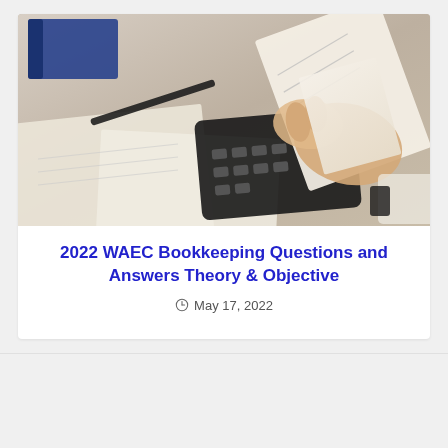[Figure (photo): A person using a calculator on a desk covered with papers and documents, holding a paper in one hand and pressing calculator keys with the other. A pen and notebook are visible on the desk.]
2022 WAEC Bookkeeping Questions and Answers Theory & Objective
May 17, 2022